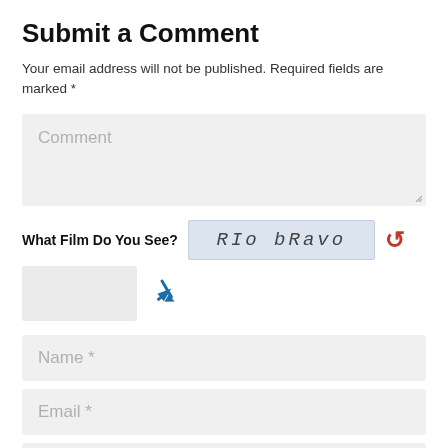Submit a Comment
Your email address will not be published. Required fields are marked *
[Figure (screenshot): Comment text area input field (empty, with placeholder text 'Comment' and resize handle)]
[Figure (screenshot): CAPTCHA widget showing 'What Film Do You See?' label, an image with text 'RIo bRavo', a red refresh button, a text input box, and a blue arrow icon]
[Figure (screenshot): Name input field with placeholder 'Name *']
[Figure (screenshot): Email input field with placeholder 'Email *']
[Figure (screenshot): Website input field with placeholder 'Website' (partially visible)]